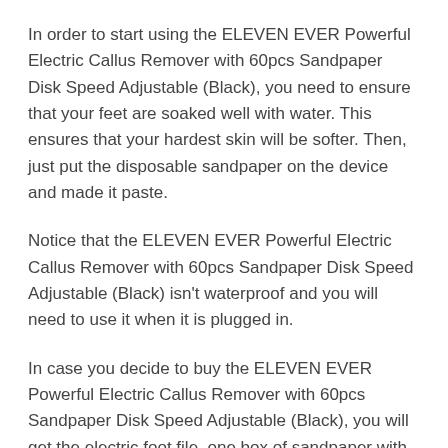In order to start using the ELEVEN EVER Powerful Electric Callus Remover with 60pcs Sandpaper Disk Speed Adjustable (Black), you need to ensure that your feet are soaked well with water. This ensures that your hardest skin will be softer. Then, just put the disposable sandpaper on the device and made it paste.
Notice that the ELEVEN EVER Powerful Electric Callus Remover with 60pcs Sandpaper Disk Speed Adjustable (Black) isn't waterproof and you will need to use it when it is plugged in.
In case you decide to buy the ELEVEN EVER Powerful Electric Callus Remover with 60pcs Sandpaper Disk Speed Adjustable (Black), you will get the electric foot file, one box of sandpaper with 60 pieces, a user manual, and a USA plug with speed controller.